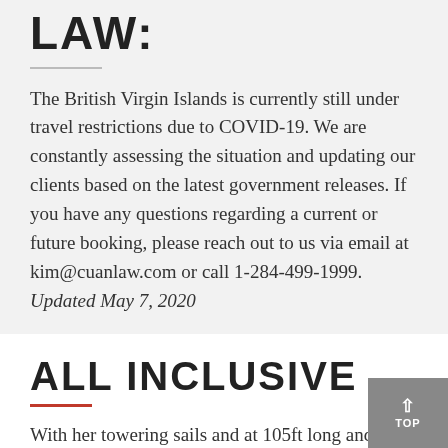LAW:
The British Virgin Islands is currently still under travel restrictions due to COVID-19. We are constantly assessing the situation and updating our clients based on the latest government releases. If you have any questions regarding a current or future booking, please reach out to us via email at kim@cuanlaw.com or call 1-284-499-1999. Updated May 7, 2020
ALL INCLUSIVE
With her towering sails and at 105ft long and 40ft wide, Cuan Law is the largest trimaran in